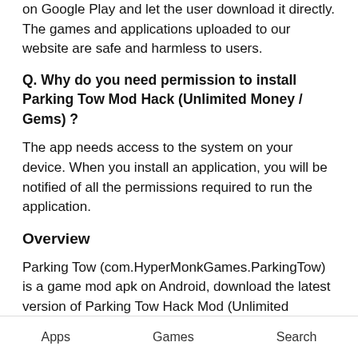on Google Play and let the user download it directly. The games and applications uploaded to our website are safe and harmless to users.
Q. Why do you need permission to install Parking Tow Mod Hack (Unlimited Money / Gems) ?
The app needs access to the system on your device. When you install an application, you will be notified of all the permissions required to run the application.
Overview
Parking Tow (com.HyperMonkGames.ParkingTow) is a game mod apk on Android, download the latest version of Parking Tow Hack Mod (Unlimited
Apps   Games   Search